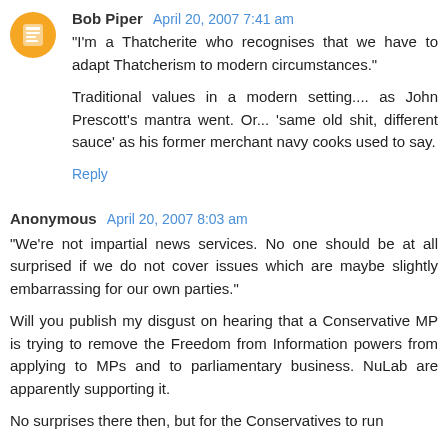Bob Piper  April 20, 2007 7:41 am
"I'm a Thatcherite who recognises that we have to adapt Thatcherism to modern circumstances."

Traditional values in a modern setting.... as John Prescott's mantra went. Or... 'same old shit, different sauce' as his former merchant navy cooks used to say.
Reply
Anonymous  April 20, 2007 8:03 am
"We're not impartial news services. No one should be at all surprised if we do not cover issues which are maybe slightly embarrassing for our own parties."

Will you publish my disgust on hearing that a Conservative MP is trying to remove the Freedom from Information powers from applying to MPs and to parliamentary business. NuLab are apparently supporting it.

No surprises there then, but for the Conservatives to run